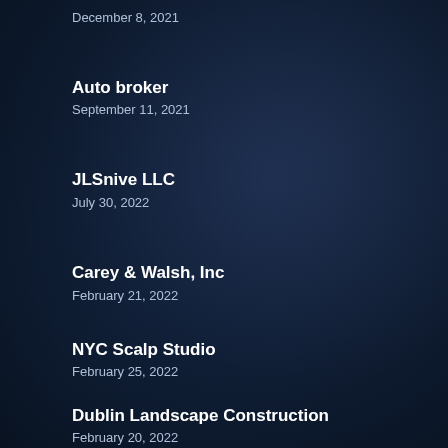December 8, 2021
Auto broker
September 11, 2021
JLSnive LLC
July 30, 2022
Carey & Walsh, Inc
February 21, 2022
NYC Scalp Studio
February 25, 2022
Dublin Landscape Construction
February 20, 2022